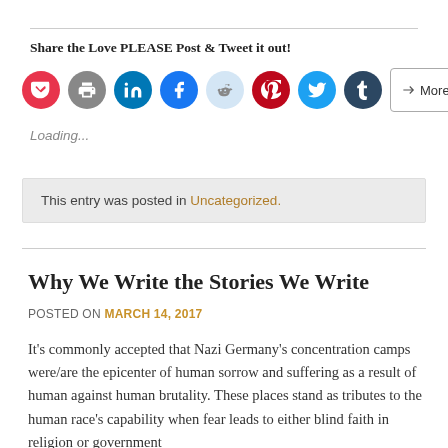Share the Love PLEASE Post & Tweet it out!
[Figure (infographic): Row of social sharing icon buttons: Pocket (red), Print (gray), LinkedIn (blue), Facebook (blue), Reddit (light blue), Pinterest (red), Twitter (blue), Tumblr (dark navy), and a More button]
Loading...
This entry was posted in Uncategorized.
Why We Write the Stories We Write
POSTED ON MARCH 14, 2017
It's commonly accepted that Nazi Germany's concentration camps were/are the epicenter of human sorrow and suffering as a result of human against human brutality. These places stand as tributes to the human race's capability when fear leads to either blind faith in religion or government